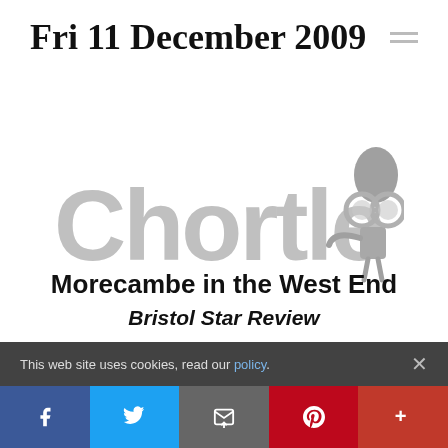Fri 11 December 2009
[Figure (logo): Chortle comedy website logo — grey text 'Chortle' with a cartoon figure wearing comedy glasses]
Morecambe in the West End
Bristol Star Review (partially visible, cut off by cookie banner)
This web site uses cookies, read our policy.
Social share bar: Facebook, Twitter, Email, Pinterest, More